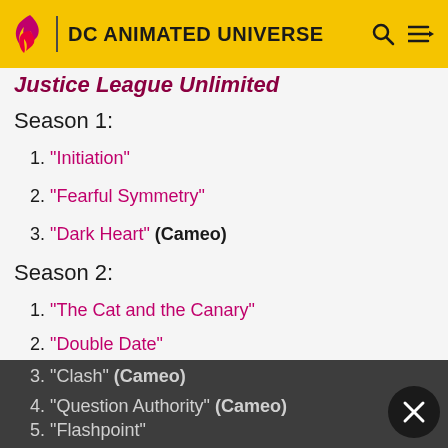DC ANIMATED UNIVERSE
Justice League Unlimited
Season 1:
1. "Initiation"
2. "Fearful Symmetry"
3. "Dark Heart" (Cameo)
Season 2:
1. "The Cat and the Canary"
2. "Double Date"
3. "Clash" (Cameo)
4. "Question Authority" (Cameo)
5. "Flashpoint"
6. "Panic in the Sky" (Cameo)
7. "Divided We Fall"